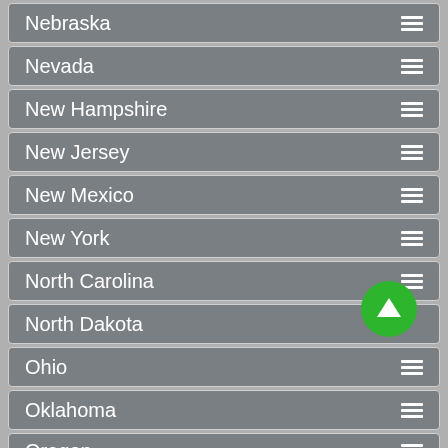Nebraska
Nevada
New Hampshire
New Jersey
New Mexico
New York
North Carolina
North Dakota
Ohio
Oklahoma
Oregon